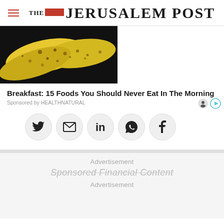THE JERUSALEM POST
[Figure (photo): Close-up photo of spotted/overripe bananas on a dark background]
Breakfast: 15 Foods You Should Never Eat In The Morning
Sponsored by HEALTHNATURAL
[Figure (infographic): Social media share buttons: Twitter, Email, LinkedIn, WhatsApp, Facebook]
Advertisement
Sponsored Financial Content
Advertisement